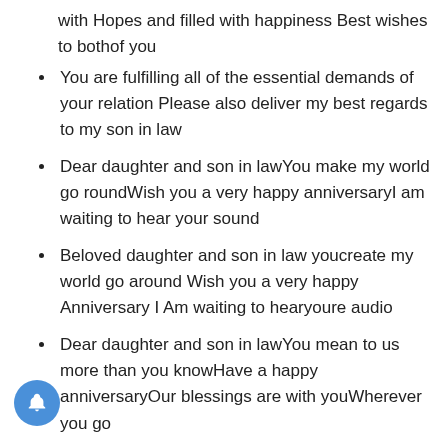with Hopes and filled with happiness Best wishes to bothof you
You are fulfilling all of the essential demands of your relation Please also deliver my best regards to my son in law
Dear daughter and son in lawYou make my world go roundWish you a very happy anniversaryI am waiting to hear your sound
Beloved daughter and son in law youcreate my world go around Wish you a very happy Anniversary I Am waiting to hearyoure audio
Dear daughter and son in lawYou mean to us more than you knowHave a happy anniversaryOur blessings are with youWherever you go
Beloved daughter and son in lawyou mean to us more than you Know have a happy anniversary our benefits arewith you Wherever you go
You have a special gift of GodTruly amazing in every weatherHappy Anniversary my dear girl and son in lawBe